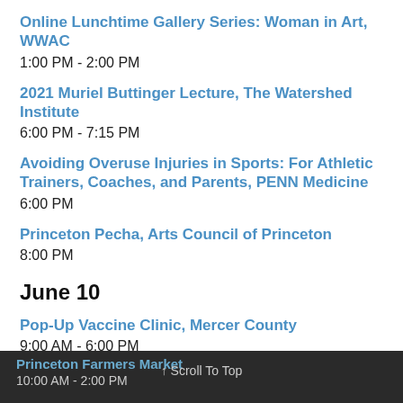Online Lunchtime Gallery Series: Woman in Art, WWAC
1:00 PM - 2:00 PM
2021 Muriel Buttinger Lecture, The Watershed Institute
6:00 PM - 7:15 PM
Avoiding Overuse Injuries in Sports: For Athletic Trainers, Coaches, and Parents, PENN Medicine
6:00 PM
Princeton Pecha, Arts Council of Princeton
8:00 PM
June 10
Pop-Up Vaccine Clinic, Mercer County
9:00 AM - 6:00 PM
Princeton Farmers Market
10:00 AM - 2:00 PM
↑ Scroll To Top